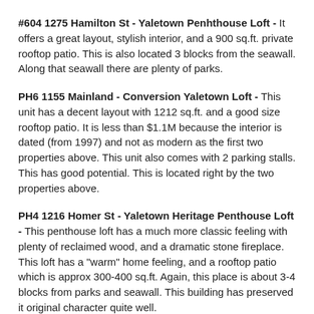#604 1275 Hamilton St - Yaletown Penhthouse Loft - It offers a great layout, stylish interior, and a 900 sq.ft. private rooftop patio.  This is also located 3 blocks from the seawall.  Along that seawall there are plenty of parks.
PH6 1155 Mainland - Conversion Yaletown Loft - This unit has a decent layout with 1212 sq.ft. and a good size rooftop patio.  It is less than $1.1M because the interior is dated (from 1997) and not as modern as the first two properties above.  This unit also comes with 2 parking stalls.  This has good potential.  This is located right by the two properties above.
PH4 1216 Homer St - Yaletown Heritage Penthouse Loft - This penthouse loft has a much more classic feeling with plenty of reclaimed wood, and a dramatic stone fireplace.  This loft has a "warm" home feeling, and a rooftop patio which is approx 300-400 sq.ft.  Again, this place is about 3-4 blocks from parks and seawall.  This building has preserved it original character quite well.
850 W 8th Ave - Koi Fairview Townhouse - Located across the Bridge, not too far from Granville Island.  It does have a decent patio/deck off